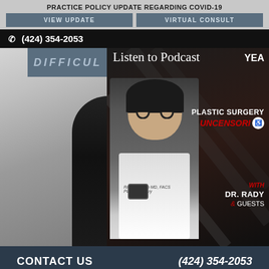PRACTICE POLICY UPDATE REGARDING COVID-19
VIEW UPDATE
VIRTUAL CONSULT
(424) 354-2053
[Figure (screenshot): Website screenshot showing a popup with 'Listen to Podcast' overlay featuring a plastic surgery podcast advertisement with Dr. Rady in a white coat. Left side shows a partial image of a woman. The podcast is titled 'Plastic Surgery Uncensored' on the YEA network, with Dr. Rady and Guests. A 'CLOSE' button appears on a black vertical bar. Text 'DIFFICULT' partially visible on a blue-gray banner.]
CONTACT US    (424) 354-2053